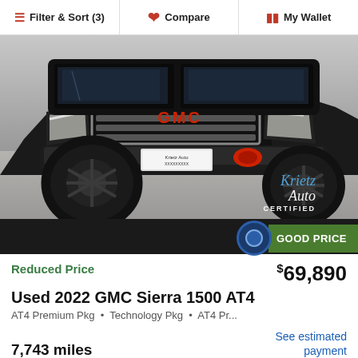Filter & Sort (3)  Compare  My Wallet
[Figure (photo): Black GMC Sierra 1500 AT4 lifted truck with large black wheels, red tow hooks, photographed from front-low angle. Krietz Auto Certified watermark in lower right.]
GOOD PRICE
Reduced Price  $69,890
Used 2022 GMC Sierra 1500 AT4
AT4 Premium Pkg • Technology Pkg • AT4 Pr...
7,743 miles
See estimated payment
Krietz Auto Sales (27.8 mi. away)
KBB.com Rating ★ 5.0
(240) 656-2818  |  Confirm Availability
SHOW ME THE CARFAX